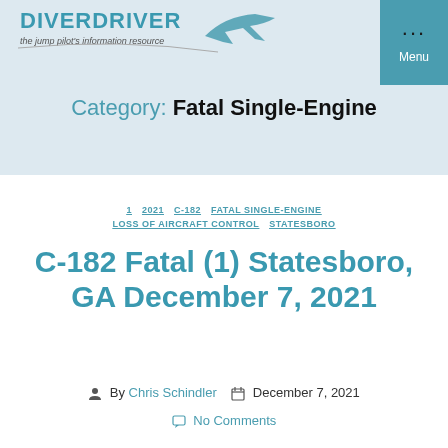DiverDriver — the jump pilot's information resource
Category: Fatal Single-Engine
1  2021  C-182  FATAL SINGLE-ENGINE  LOSS OF AIRCRAFT CONTROL  STATESBORO
C-182 Fatal (1) Statesboro, GA December 7, 2021
By Chris Schindler  December 7, 2021  No Comments